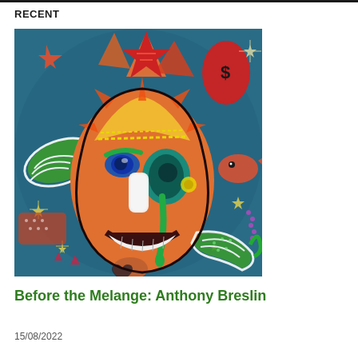RECENT
[Figure (illustration): Colorful artwork showing a stylized face/mask with orange skin, yellow hat, blue eyes, and decorative elements including wings, stars, and surreal shapes on a teal/dark blue background — by Anthony Breslin]
Before the Melange: Anthony Breslin
15/08/2022